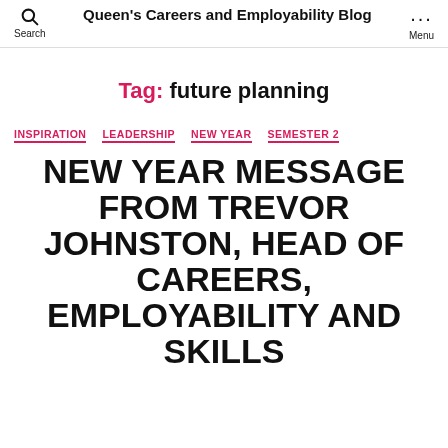Queen's Careers and Employability Blog
Tag: future planning
INSPIRATION  LEADERSHIP  NEW YEAR  SEMESTER 2
NEW YEAR MESSAGE FROM TREVOR JOHNSTON, HEAD OF CAREERS, EMPLOYABILITY AND SKILLS